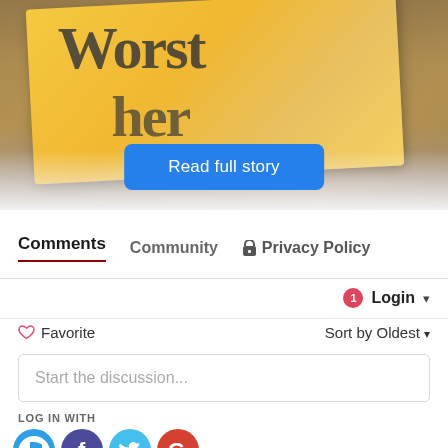[Figure (photo): Photo of a yellow/orange paper tag or book showing the word 'Worst' and partial word 'her', placed on a wooden surface. A blue button with white text 'Read full story' overlaps the bottom of the image.]
Read full story
Comments   Community   Privacy Policy
1  Login
Favorite   Sort by Oldest
Start the discussion...
LOG IN WITH
[Figure (logo): Four social login icons: Disqus (D, blue speech bubble), Facebook (f, dark purple circle), Twitter (bird, light blue circle), Google (G, red circle)]